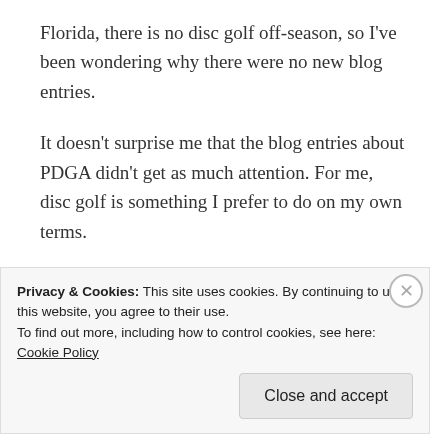Florida, there is no disc golf off-season, so I've been wondering why there were no new blog entries.
It doesn't surprise me that the blog entries about PDGA didn't get as much attention. For me, disc golf is something I prefer to do on my own terms.
★ Like
REPLY
Privacy & Cookies: This site uses cookies. By continuing to use this website, you agree to their use.
To find out more, including how to control cookies, see here: Cookie Policy
Close and accept